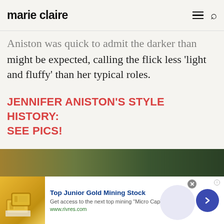marie claire
Aniston was quick to admit the darker than might be expected, calling the flick less 'light and fluffy' than her typical roles.
JENNIFER ANISTON'S STYLE HISTORY: SEE PICS!
Taboola Feed
[Figure (photo): Dark green/brown outdoor photo strip at bottom of page]
[Figure (photo): Advertisement banner: gold bar image with 'Top Junior Gold Mining Stock' text, www.rivres.com]